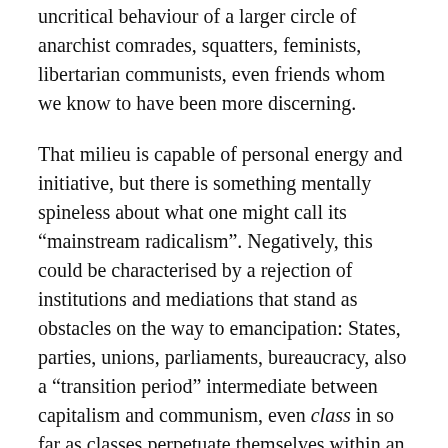uncritical behaviour of a larger circle of anarchist comrades, squatters, feminists, libertarian communists, even friends whom we know to have been more discerning.
That milieu is capable of personal energy and initiative, but there is something mentally spineless about what one might call its “mainstream radicalism”. Negatively, this could be characterised by a rejection of institutions and mediations that stand as obstacles on the way to emancipation: States, parties, unions, parliaments, bureaucracy, also a “transition period” intermediate between capitalism and communism, even class in so far as classes perpetuate themselves within an endless class struggle. Positively, it focuses on empowerment, self-organisation, direct democracy and a revolution of daily life, which extends to all forms of domination, notably gender.